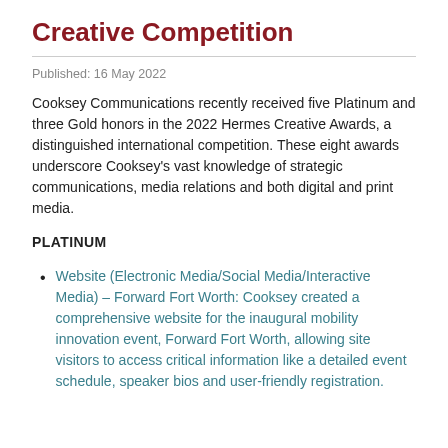Creative Competition
Published: 16 May 2022
Cooksey Communications recently received five Platinum and three Gold honors in the 2022 Hermes Creative Awards, a distinguished international competition. These eight awards underscore Cooksey's vast knowledge of strategic communications, media relations and both digital and print media.
PLATINUM
Website (Electronic Media/Social Media/Interactive Media) – Forward Fort Worth: Cooksey created a comprehensive website for the inaugural mobility innovation event, Forward Fort Worth, allowing site visitors to access critical information like a detailed event schedule, speaker bios and user-friendly registration.